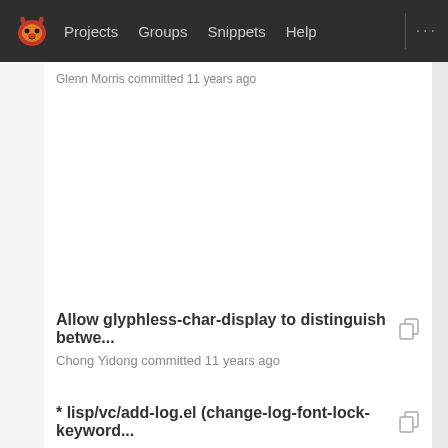Projects  Groups  Snippets  Help
Glenn Morris committed 11 years ago
Allow glyphless-char-display to distinguish betwe...
Chong Yidong committed 11 years ago
* lisp/vc/add-log.el (change-log-font-lock-keyword...